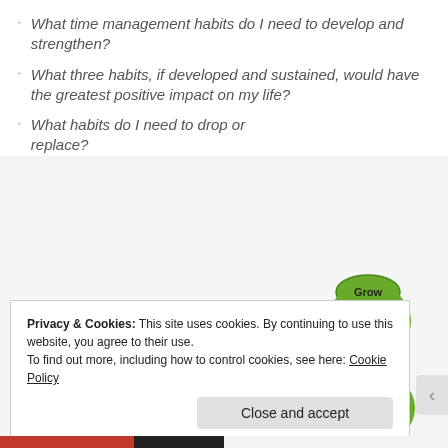What time management habits do I need to develop and strengthen?
What three habits, if developed and sustained, would have the greatest positive impact on my life?
What habits do I need to drop or replace?
[Figure (flowchart): Cyclic Learn-Grow diagram showing three interlocked cycles with arrows. Each cycle has a 'Learn' node leading to a 'Grow' node, stacked vertically and overlapping, with green arrows forming circular loops.]
Privacy & Cookies: This site uses cookies. By continuing to use this website, you agree to their use.
To find out more, including how to control cookies, see here: Cookie Policy
Close and accept